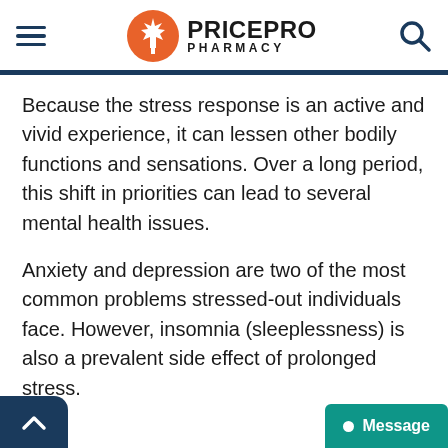[Figure (logo): PricePro Pharmacy logo with orange maple leaf circle and bold text]
Because the stress response is an active and vivid experience, it can lessen other bodily functions and sensations. Over a long period, this shift in priorities can lead to several mental health issues.
Anxiety and depression are two of the most common problems stressed-out individuals face. However, insomnia (sleeplessness) is also a prevalent side effect of prolonged stress.